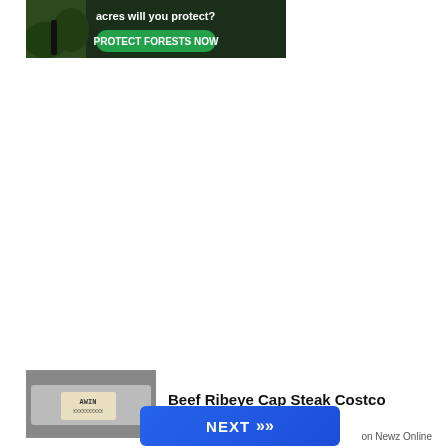[Figure (illustration): A green forest/nature advertisement banner with text 'acres will you protect?' and a green button 'PROTECT FORESTS NOW', partially visible at the top of the page.]
[Figure (photo): A thumbnail image showing what appears to be a beef ribeye cap steak package on a gray surface, partially visible at the bottom left.]
Beef Ribeye Cap Steak Costco
[Figure (other): A blue 'NEXT' button with double right-arrow chevrons (»), part of a content recommendation widget by Newz Online.]
on Newz Online